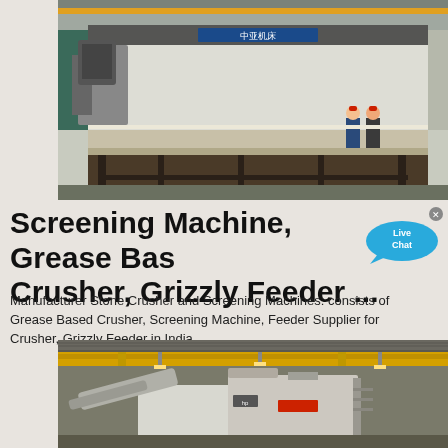[Figure (photo): Factory interior showing a large industrial press brake machine with workers in red hard hats standing nearby. Chinese text on the machine reads '中亚机床'. Industrial setting with overhead cranes visible.]
Screening Machine, Grease Based Crusher, Grizzly Feeder ...
Manufacturer Stone Crusher and Screening Machines: consists of Grease Based Crusher, Screening Machine, Feeder Supplier for Crusher, Grizzly Feeder in India.
[Figure (photo): Factory interior showing large industrial crushing and screening machinery with yellow overhead crane beams visible. The equipment includes a mobile jaw crusher unit and other heavy machinery.]